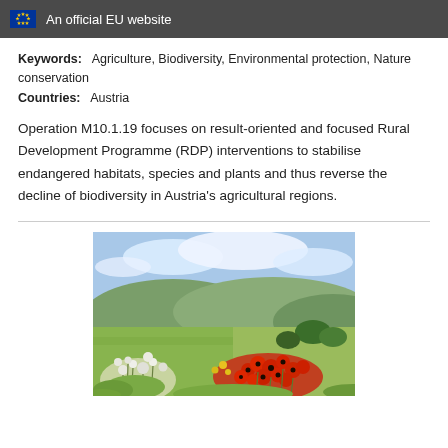An official EU website
Keywords:    Agriculture, Biodiversity, Environmental protection, Nature conservation
Countries:   Austria
Operation M10.1.19 focuses on result-oriented and focused Rural Development Programme (RDP) interventions to stabilise endangered habitats, species and plants and thus reverse the decline of biodiversity in Austria's agricultural regions.
[Figure (photo): Landscape photograph showing wildflowers including red poppies and white flowers in the foreground, green fields and hills in the background under a partly cloudy sky, taken in an Austrian agricultural region.]